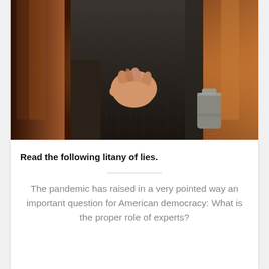[Figure (photo): Close-up photo of a person in a suit with their hand behind their back with fingers crossed, standing in front of classical columns with warm amber/brown tones. A briefcase or cylinder is partially visible at the right.]
Read the following litany of lies.
The pandemic has raised in a very pointed way an important question for American democracy: What is the proper role of experts?